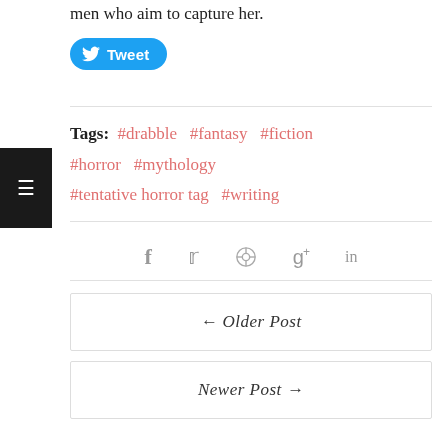men who aim to capture her.
[Figure (other): Tweet button with Twitter bird logo]
Tags: #drabble #fantasy #fiction #horror #mythology #tentative horror tag #writing
[Figure (other): Social share icons: Facebook, Twitter, Pinterest, Google+, LinkedIn]
← Older Post
Newer Post →